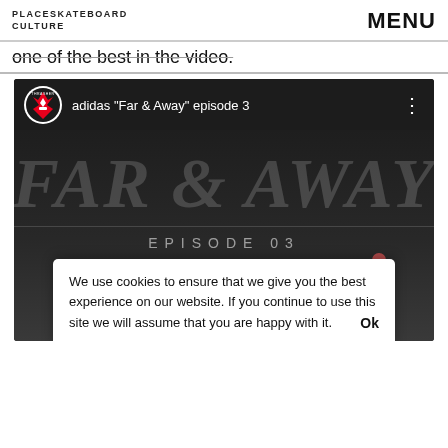PLACESKATEBOARD CULTURE | MENU
one of the best in the video.
[Figure (screenshot): YouTube embedded video player showing adidas 'Far & Away' episode 3 with Thrasher logo, large italic 'FAR & AWAY' text, and 'EPISODE 03' subtitle. A YouTube play button is visible with a skater silhouette in the background.]
We use cookies to ensure that we give you the best experience on our website. If you continue to use this site we will assume that you are happy with it. Ok